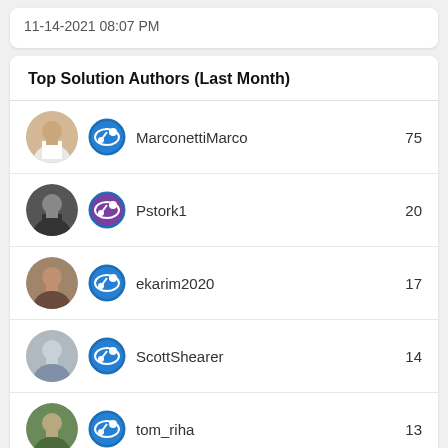11-14-2021 08:07 PM
Top Solution Authors (Last Month)
MarconettiMarco  75
Pstork1  20
ekarim2020  17
ScottShearer  14
tom_riha  13
See all >>